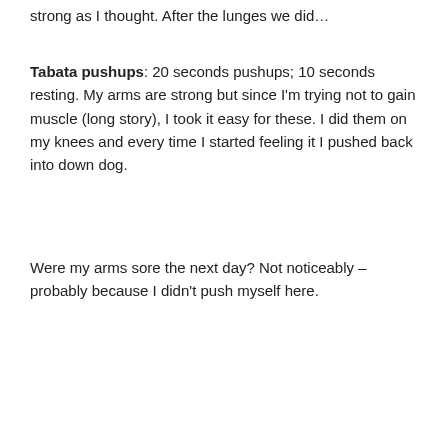strong as I thought. After the lunges we did…
Tabata pushups: 20 seconds pushups; 10 seconds resting. My arms are strong but since I'm trying not to gain muscle (long story), I took it easy for these. I did them on my knees and every time I started feeling it I pushed back into down dog.
Were my arms sore the next day? Not noticeably – probably because I didn't push myself here.